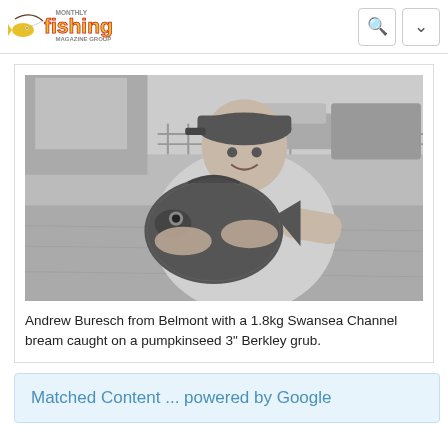Fishing Monthly Magazine Group
[Figure (photo): Black and white photo of Andrew Buresch from Belmont holding a large bream fish with both hands, smiling, wearing a cap and long-sleeve shirt, outdoors in a parking/dock area.]
Andrew Buresch from Belmont with a 1.8kg Swansea Channel bream caught on a pumpkinseed 3" Berkley grub.
Matched Content ... powered by Google